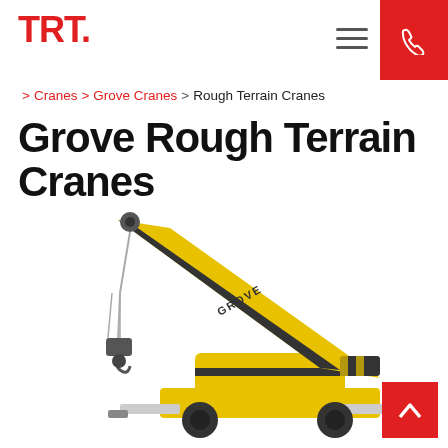TRT. [logo] [hamburger menu] [phone icon]
> Cranes  > Grove Cranes  > Rough Terrain Cranes
Grove Rough Terrain Cranes
[Figure (photo): A Grove rough terrain crane with yellow boom extended diagonally upward to the right, hook and block hanging from the boom tip, on a white background. The crane body and outriggers are visible at the bottom.]